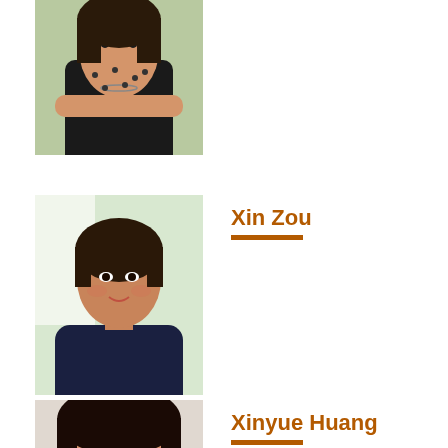[Figure (photo): Partial photo of a woman in black clothing with arms crossed, outdoor background]
[Figure (photo): Photo of Xin Zou, woman with short hair wearing a dark top, indoor background]
Xin Zou
[Figure (photo): Partial photo of Xinyue Huang, woman, close-up face]
Xinyue Huang